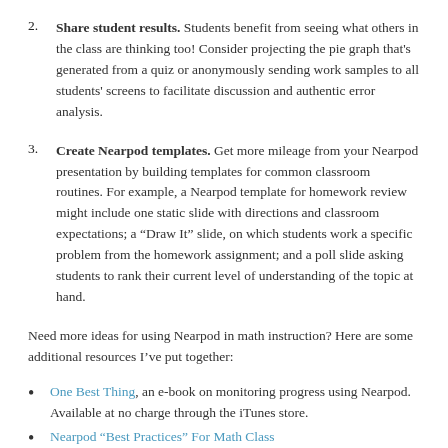2. Share student results. Students benefit from seeing what others in the class are thinking too! Consider projecting the pie graph that's generated from a quiz or anonymously sending work samples to all students' screens to facilitate discussion and authentic error analysis.
3. Create Nearpod templates. Get more mileage from your Nearpod presentation by building templates for common classroom routines. For example, a Nearpod template for homework review might include one static slide with directions and classroom expectations; a “Draw It” slide, on which students work a specific problem from the homework assignment; and a poll slide asking students to rank their current level of understanding of the topic at hand.
Need more ideas for using Nearpod in math instruction? Here are some additional resources I’ve put together:
One Best Thing, an e-book on monitoring progress using Nearpod. Available at no charge through the iTunes store.
Nearpod “Best Practices” For Math Class
Desmos, Nearpod, ThingLink, and the Kitchen Sink
Transformations and “Animations”